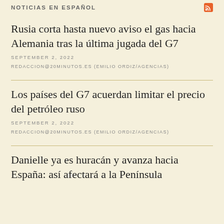NOTICIAS EN ESPAÑOL
Rusia corta hasta nuevo aviso el gas hacia Alemania tras la última jugada del G7
SEPTEMBER 2, 2022
REDACCION@20MINUTOS.ES (EMILIO ORDIZ/AGENCIAS)
Los países del G7 acuerdan limitar el precio del petróleo ruso
SEPTEMBER 2, 2022
REDACCION@20MINUTOS.ES (EMILIO ORDIZ/AGENCIAS)
Danielle ya es huracán y avanza hacia España: así afectará a la Península